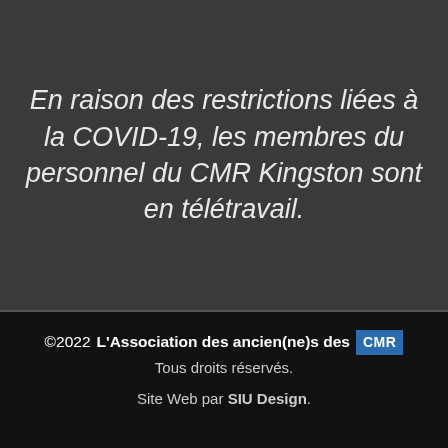En raison des restrictions liées à la COVID-19, les membres du personnel du CMR Kingston sont en télétravail.
©2022 L'Association des ancien(ne)s des CMR Tous droits réservés. Site Web par SIU Design.